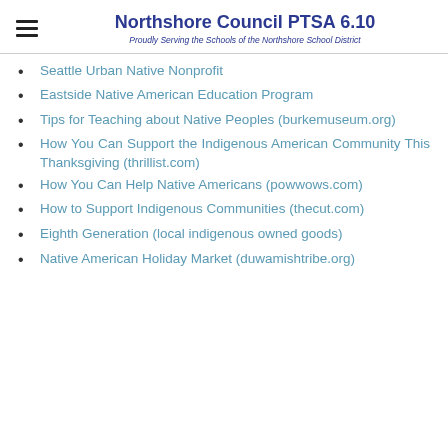Northshore Council PTSA 6.10 — Proudly Serving the Schools of the Northshore School District
Seattle Urban Native Nonprofit
Eastside Native American Education Program
Tips for Teaching about Native Peoples (burkemuseum.org)
How You Can Support the Indigenous American Community This Thanksgiving (thrillist.com)
How You Can Help Native Americans (powwows.com)
How to Support Indigenous Communities (thecut.com)
Eighth Generation (local indigenous owned goods)
Native American Holiday Market (duwamishtribe.org)